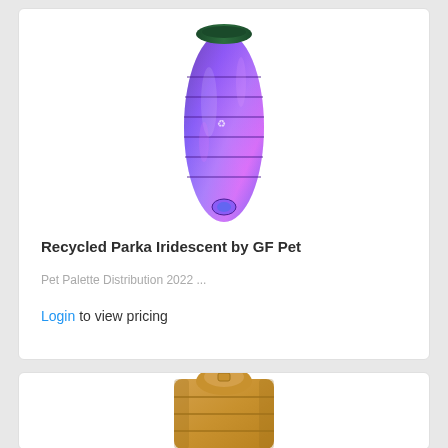[Figure (photo): Iridescent purple/blue metallic quilted dog parka coat standing upright on white background]
Recycled Parka Iridescent by GF Pet
Pet Palette Distribution 2022 ...
Login to view pricing
[Figure (photo): Tan/caramel colored quilted dog parka coat with hood, partially visible at bottom of page]